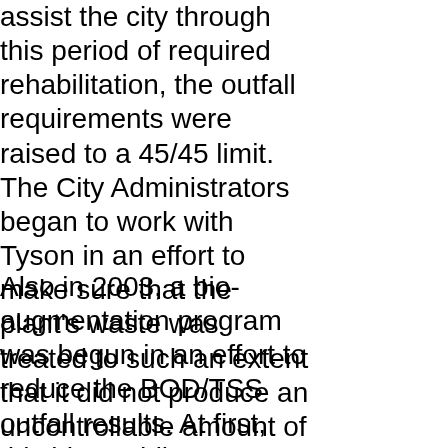assist the city through this period of required rehabilitation, the outfall requirements were raised to a 45/45 limit. The City Administrators began to work with Tyson in an effort to make sure that the plant's waste was treated to such an extent that it did not produce an uncontrollable amount of untreated waste. Tyson was very cooperative in the requirements placed by the Administrators.
Also in 2003, a bio-augmentation program was begun in an effort to reduce the BOD/TSS outfall results. At first, this idea, while expensive, seemed to work, but it was soon realized that the added bacteria to the system worked fine, until the BOD and TSS both reduced to the low 40's